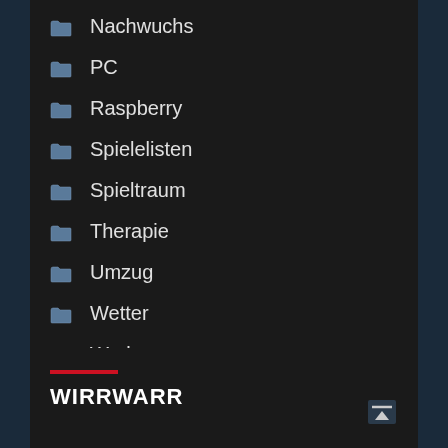Nachwuchs
PC
Raspberry
Spielelisten
Spieltraum
Therapie
Umzug
Wetter
Work
Wünsche
WIRRWARR